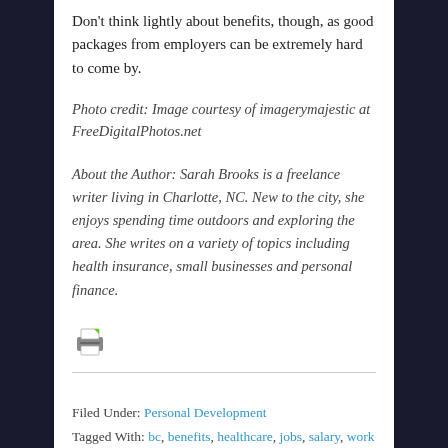Don’t think lightly about benefits, though, as good packages from employers can be extremely hard to come by.
Photo credit: Image courtesy of imagerymajestic at FreeDigitalPhotos.net
About the Author: Sarah Brooks is a freelance writer living in Charlotte, NC. New to the city, she enjoys spending time outdoors and exploring the area. She writes on a variety of topics including health insurance, small businesses and personal finance.
[Figure (illustration): Print icon with green highlight]
Filed Under: Personal Development
Tagged With: bc, benefits, healthcare, jobs, salary, work